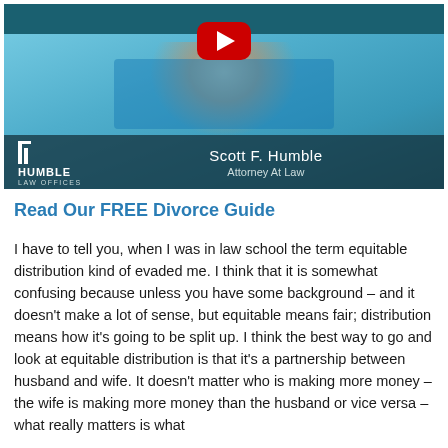[Figure (screenshot): YouTube video thumbnail showing Scott F. Humble, Attorney At Law, from Humble Law Offices. Man in blue shirt and red tie seated, with YouTube play button overlay. Law office background visible.]
Read Our FREE Divorce Guide
I have to tell you, when I was in law school the term equitable distribution kind of evaded me. I think that it is somewhat confusing because unless you have some background – and it doesn't make a lot of sense, but equitable means fair; distribution means how it's going to be split up. I think the best way to go and look at equitable distribution is that it's a partnership between husband and wife. It doesn't matter who is making more money – the wife is making more money than the husband or vice versa – what really matters is what